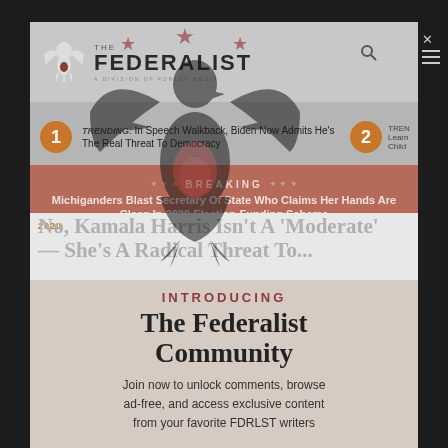[Figure (screenshot): The Federalist website screenshot with eagle logo, trending bar, breaking news bar, article headline, and community modal overlay]
the FEDERALIST
TRENDING: In Speech Walkback, Biden Now Admits He's The Real Threat To Democracy
BREAKING — Michiganders Blast Secretary Of State Who Claims Her Hands Are Clean In 2020 Election-Funding Scheme
INTRODUCING
The Federalist Community
Join now to unlock comments, browse ad-free, and access exclusive content from your favorite FDRLST writers
No, Kamala Harris Isn't A 'Moderate' — She's A Radical Threat To...